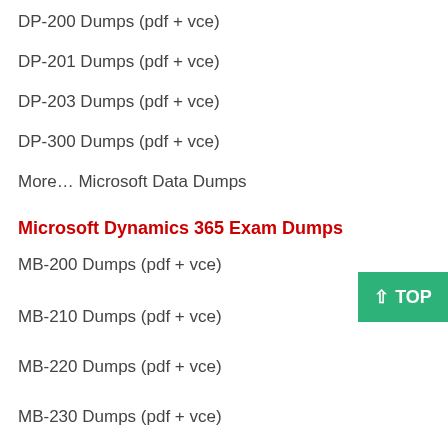DP-200 Dumps (pdf + vce)
DP-201 Dumps (pdf + vce)
DP-203 Dumps (pdf + vce)
DP-300 Dumps (pdf + vce)
More… Microsoft Data Dumps
Microsoft Dynamics 365 Exam Dumps
MB-200 Dumps (pdf + vce)
MB-210 Dumps (pdf + vce)
MB-220 Dumps (pdf + vce)
MB-230 Dumps (pdf + vce)